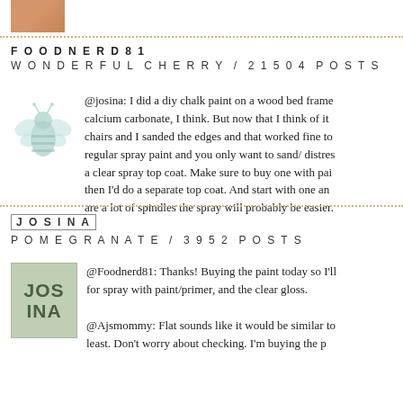[Figure (photo): Partial avatar image at top, warm orange/brown color]
FOODNERD81
WONDERFUL CHERRY / 21504 POSTS
@josina: I did a diy chalk paint on a wood bed frame calcium carbonate, I think. But now that I think of it chairs and I sanded the edges and that worked fine to regular spray paint and you only want to sand/ distres a clear spray top coat. Make sure to buy one with pai then I'd do a separate top coat. And start with one an are a lot of spindles the spray will probably be easier.
JOSINA
POMEGRANATE / 3952 POSTS
@Foodnerd81: Thanks! Buying the paint today so I'll for spray with paint/primer, and the clear gloss.
@Ajsmommy: Flat sounds like it would be similar to least. Don't worry about checking. I'm buying the p